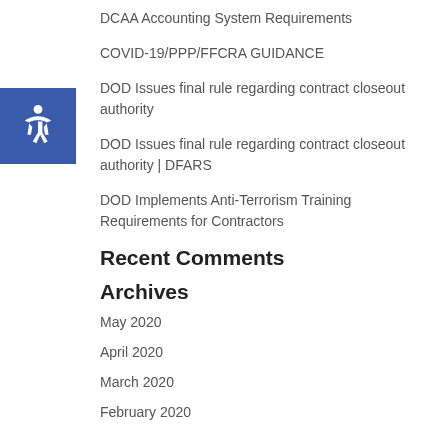DCAA Accounting System Requirements
COVID-19/PPP/FFCRA GUIDANCE
DOD Issues final rule regarding contract closeout authority
DOD Issues final rule regarding contract closeout authority | DFARS
DOD Implements Anti-Terrorism Training Requirements for Contractors
Recent Comments
Archives
May 2020
April 2020
March 2020
February 2020